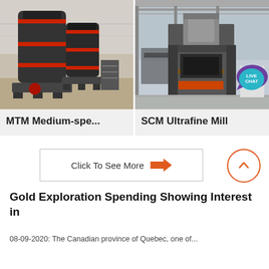[Figure (photo): Photo of MTM Medium-speed industrial grinding mill machine, large black cylindrical machines on a platform in an industrial setting]
[Figure (photo): Photo of SCM Ultrafine Mill machine, large grey and dark industrial press/mill equipment in a factory showroom with a LIVE CHAT bubble overlay in top-right corner]
MTM Medium-spe...
SCM Ultrafine Mill
Click To See More →
Gold Exploration Spending Showing Interest in
08-09-2020: The Canadian province of Quebec, one of...